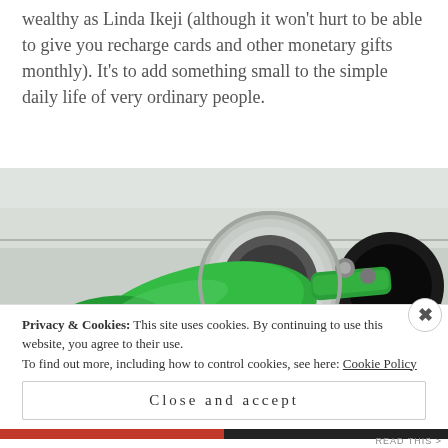wealthy as Linda Ikeji (although it won't hurt to be able to give you recharge cards and other monetary gifts monthly). It's to add something small to the simple daily life of very ordinary people.
[Figure (photo): Close-up photo of a green fuel pump nozzle inserted into a car's fuel tank opening, with silver and black metallic details visible.]
Privacy & Cookies: This site uses cookies. By continuing to use this website, you agree to their use.
To find out more, including how to control cookies, see here: Cookie Policy
Close and accept